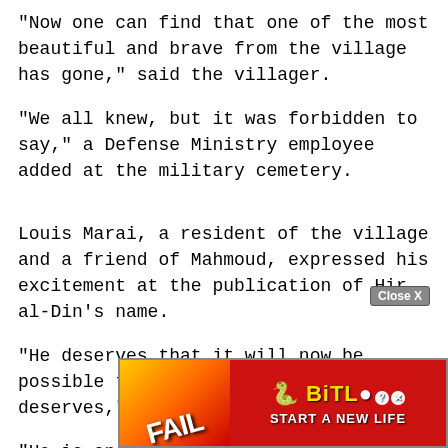"Now one can find that one of the most beautiful and brave from the village has gone," said the villager.
"We all knew, but it was forbidden to say," a Defense Ministry employee added at the military cemetery.
Louis Marai, a resident of the village and a friend of Mahmoud, expressed his excitement at the publication of Hir al-Din's name.
"He deserves that it will now be possible to give him the respect he deserves," he said.
"He is one of the heroes of the village, it is a pride for all of us and for the entire State of Is...
[Figure (screenshot): Advertisement overlay: BitLife 'Start a New Life' ad with a FAIL stamp and cartoon character, partially covering the bottom of the article text. A 'Close X' button appears in the upper right of the ad area.]